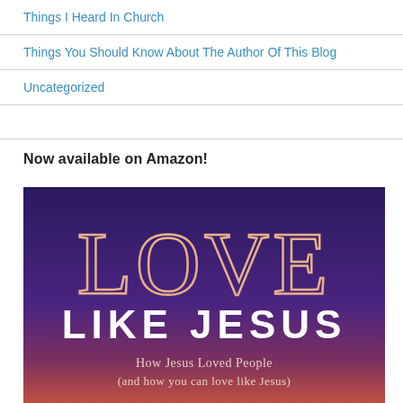Things I Heard In Church
Things You Should Know About The Author Of This Blog
Uncategorized
Now available on Amazon!
[Figure (illustration): Book cover for 'Love Like Jesus: How Jesus Loved People (and how you can love like Jesus)' — large text LOVE in outlined peach letters over a purple/violet gradient background with warm pink/orange at bottom, LIKE JESUS in solid white below, and subtitle text at bottom.]